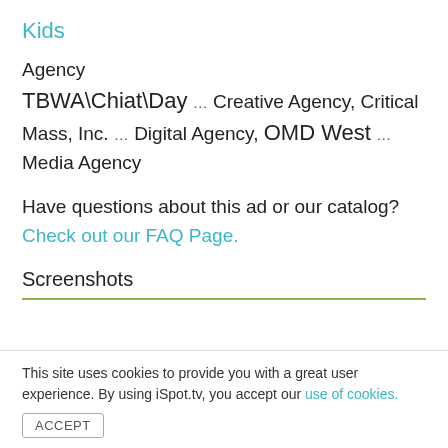Kids
Agency TBWA\Chiat\Day … Creative Agency, Critical Mass, Inc. … Digital Agency, OMD West … Media Agency
Have questions about this ad or our catalog? Check out our FAQ Page.
Screenshots
This site uses cookies to provide you with a great user experience. By using iSpot.tv, you accept our use of cookies.
ACCEPT